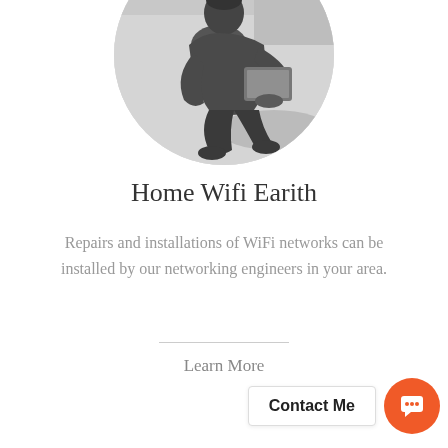[Figure (photo): Black and white circular photo of a person in work clothes sitting and using a tablet device]
Home Wifi Earith
Repairs and installations of WiFi networks can be installed by our networking engineers in your area.
Learn More
Contact Me